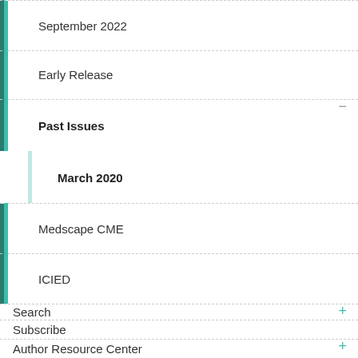September 2022
Early Release
Past Issues
March 2020
Medscape CME
ICIED
Search
Subscribe
Author Resource Center